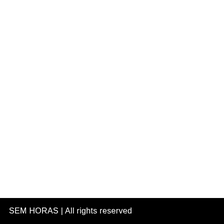SEM HORAS | All rights reserved